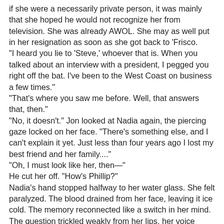if she were a necessarily private person, it was mainly that she hoped he would not recognize her from television. She was already AWOL. She may as well put in her resignation as soon as she got back to 'Frisco. "I heard you lie to 'Steve,' whoever that is. When you talked about an interview with a president, I pegged you right off the bat. I've been to the West Coast on business a few times." "That's where you saw me before. Well, that answers that, then." "No, it doesn't." Jon looked at Nadia again, the piercing gaze locked on her face. "There's something else, and I can't explain it yet. Just less than four years ago I lost my best friend and her family...." "Oh, I must look like her, then—" He cut her off. "How's Phillip?" Nadia's hand stopped halfway to her water glass. She felt paralyzed. The blood drained from her face, leaving it ice cold. The memory reconnected like a switch in her mind. The question trickled weakly from her lips, her voice quavering. "Who's Phillip?"